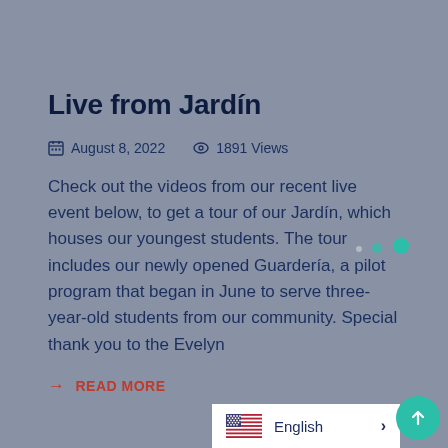Live from Jardín
August 8, 2022   1891 Views
Check out the videos from our recent live event below, to get a tour of our Jardín, which houses our youngest students. The tour includes our newly opened Guardería, a pilot program that began in June to serve three-year-old students from our community. Special thank you to the Evelyn
→ READ MORE